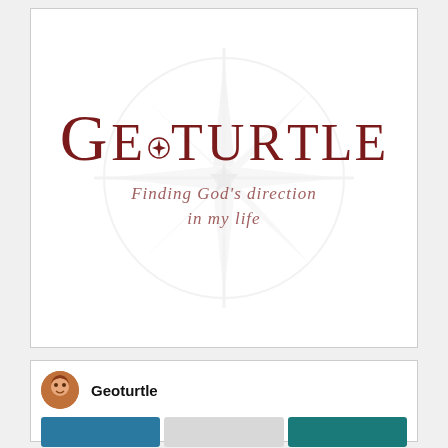[Figure (logo): Geoturtle logo with compass rose background, text 'GEOTURTLE' in dark red serif font, subtitle 'Finding God's direction in my life' in italic rose-colored font]
[Figure (screenshot): Social media profile card for Geoturtle showing avatar, name 'Geoturtle' in bold, and three thumbnail images in blue, white/grey, and teal]